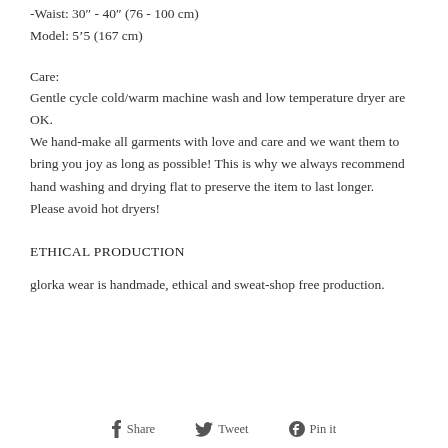-Waist: 30" - 40" (76 - 100 cm)
Model: 5'5 (167 cm)
Care:
Gentle cycle cold/warm machine wash and low temperature dryer are OK.
We hand-make all garments with love and care and we want them to bring you joy as long as possible! This is why we always recommend hand washing and drying flat to preserve the item to last longer.
Please avoid hot dryers!
ETHICAL PRODUCTION
glorka wear is handmade, ethical and sweat-shop free production.
Share   Tweet   Pin it